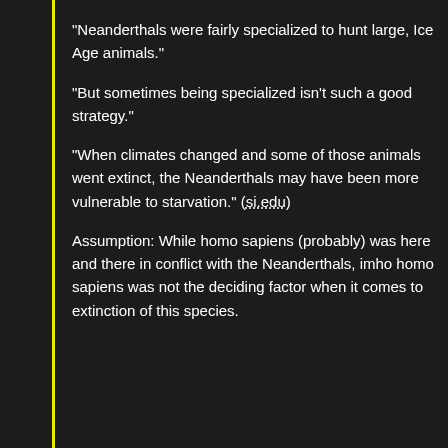“Neanderthals were fairly specialized to hunt large, Ice Age animals.”
“But sometimes being specialized isn’t such a good strategy.”
“When climates changed and some of those animals went extinct, the Neanderthals may have been more vulnerable to starvation.” (si.edu)
Assumption: While homo sapiens (probably) was here and there in conflict with the Neanderthals, imho homo sapiens was not the deciding factor when it comes to extinction of this species.